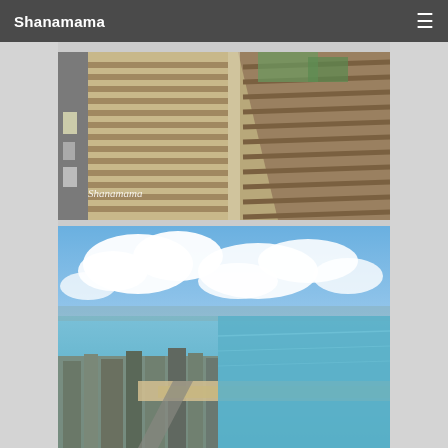Shanamama
[Figure (photo): Aerial top-down view of Chicago skyscrapers and city streets with a watermark reading 'Shanamama']
[Figure (photo): Aerial view of Chicago lakefront shoreline with blue sky, clouds, Lake Michigan, sandy beach, and city buildings]